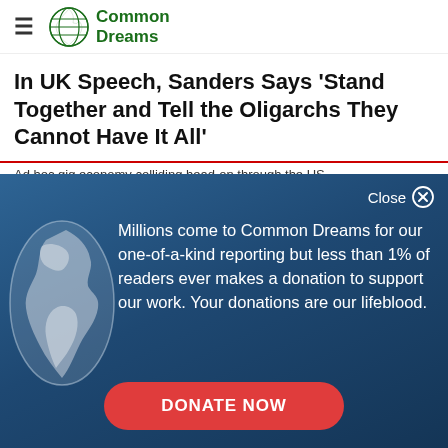Common Dreams
In UK Speech, Sanders Says 'Stand Together and Tell the Oligarchs They Cannot Have It All'
[Figure (infographic): Common Dreams donation modal overlay with globe icon, text about readership and donations, and a red Donate Now button. Close button top right.]
Millions come to Common Dreams for our one-of-a-kind reporting but less than 1% of readers ever makes a donation to support our work. Your donations are our lifeblood.
DONATE NOW